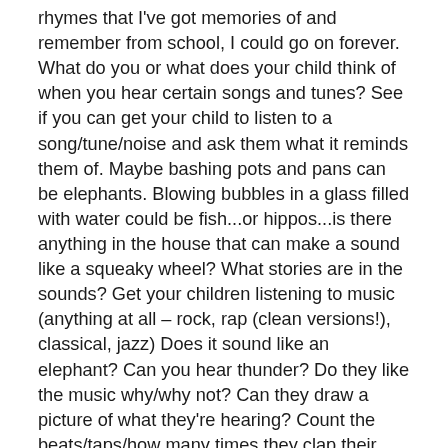rhymes that I've got memories of and remember from school, I could go on forever. What do you or what does your child think of when you hear certain songs and tunes? See if you can get your child to listen to a song/tune/noise and ask them what it reminds them of. Maybe bashing pots and pans can be elephants. Blowing bubbles in a glass filled with water could be fish...or hippos...is there anything in the house that can make a sound like a squeaky wheel? What stories are in the sounds? Get your children listening to music (anything at all – rock, rap (clean versions!), classical, jazz) Does it sound like an elephant? Can you hear thunder? Do they like the music why/why not? Can they draw a picture of what they're hearing? Count the beats/taps/how many times they clap their hands. Play a game – make the first line of a song up then the next person has to continue it.